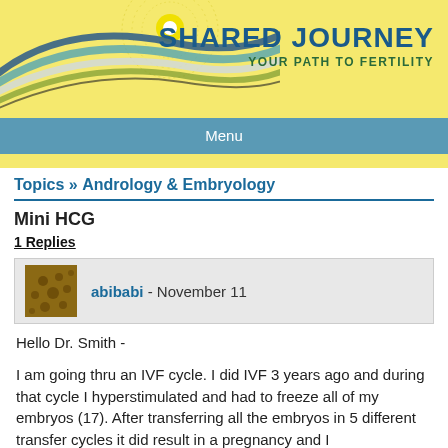[Figure (logo): Shared Journey fertility website header with decorative wave graphic in yellow background, sun/circle motif, and brand text 'SHARED JOURNEY – YOUR PATH TO FERTILITY']
Menu
Topics » Andrology & Embryology
Mini HCG
1 Replies
abibabi - November 11
Hello Dr. Smith -

I am going thru an IVF cycle. I did IVF 3 years ago and during that cycle I hyperstimulated and had to freeze all of my embryos (17). After transferring all the embryos in 5 different transfer cycles it did result in a pregnancy and I